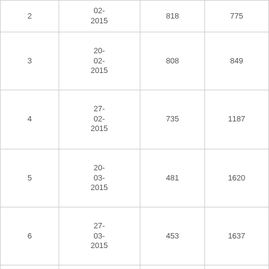| 2 | 02-2015 | 818 | 775 |
| 3 | 20-02-2015 | 808 | 849 |
| 4 | 27-02-2015 | 735 | 1187 |
| 5 | 20-03-2015 | 481 | 1620 |
| 6 | 27-03-2015 | 453 | 1637 |
| 7 | 10-04-2015 | 469 | 925 |